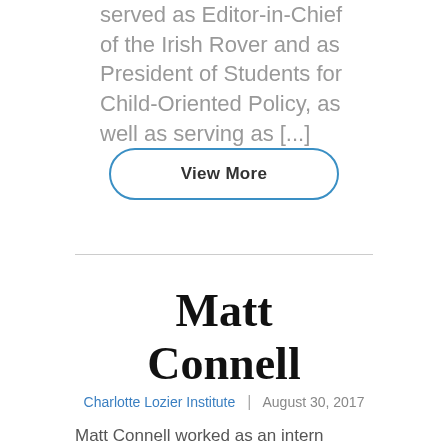served as Editor-in-Chief of the Irish Rover and as President of Students for Child-Oriented Policy, as well as serving as [...]
View More
Matt Connell
Charlotte Lozier Institute | August 30, 2017
Matt Connell worked as an intern